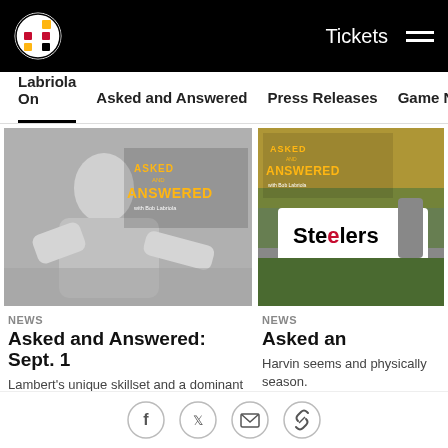Pittsburgh Steelers — Tickets | Navigation menu
Labriola On | Asked and Answered | Press Releases | Game Notes
[Figure (photo): Black and white photo of a football player sitting on the ground with 'Asked and Answered with Bob Labriola' overlay text]
NEWS
Asked and Answered: Sept. 1
Lambert's unique skillset and a dominant DL in front of him allowed him to thrive at a lighter weight.
[Figure (photo): Color photo of Steelers game sideline with 'Asked and Answered' overlay text and Steelers banner visible]
NEWS
Asked an
Harvin seems and physically season.
Social share icons: Facebook, Twitter, Email, Link